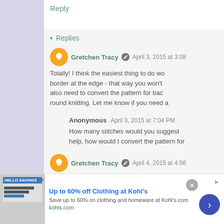Reply
▾ Replies
Gretchen Tracy  April 3, 2015 at 3:08
Totally! I think the easiest thing to do wo... border at the edge - that way you won't... also need to convert the pattern for bac... round knitting. Let me know if you need a...
Anonymous  April 3, 2015 at 7:04 PM
How many stitches would you suggest... help, how would I convert the pattern for... of that! Thanks.
Gretchen Tracy  April 4, 2015 at 4:56
[Figure (infographic): Advertisement banner: Up to 60% off Clothing at Kohl's. Save up to 60% on clothing and homeware at Kohl's.com. kohls.com]